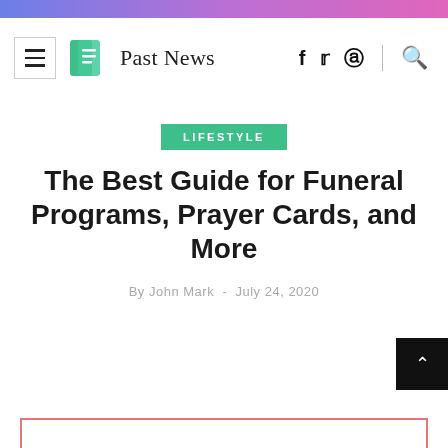Past News — navigation bar with hamburger menu, logo, brand name, social icons (f, twitter, pinterest), search icon
LIFESTYLE
The Best Guide for Funeral Programs, Prayer Cards, and More
By John Mark  -  July 24, 2020